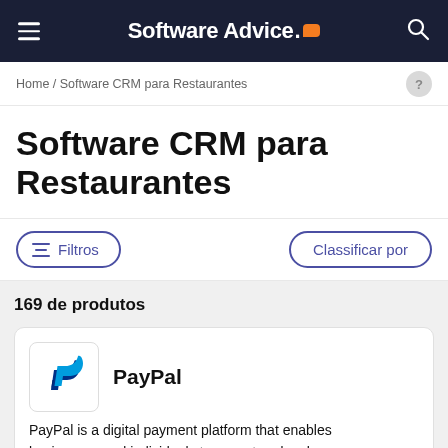Software Advice.
Home / Software CRM para Restaurantes
Software CRM para Restaurantes
Filtros   Classificar por
169 de produtos
PayPal
PayPal is a digital payment platform that enables businesses and individuals to accept and make